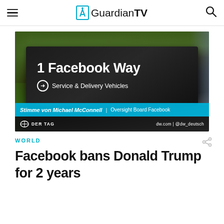GuardianTV
[Figure (photo): Outdoor sign reading '1 Facebook Way — Service & Delivery Vehicles' with trees and landscape in background. Lower overlay shows 'Stimme von Michael McConnell | Oversight Board Facebook' on blue bar, and 'DER TAG – dw.com | @dw_deutsch' on dark bar.]
WORLD
Facebook bans Donald Trump for 2 years